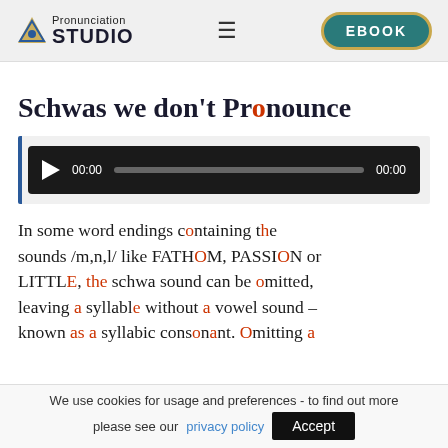Pronunciation Studio | EBOOK
Schwas we don't Pronounce
[Figure (other): Audio player widget with play button, 00:00 timestamp, progress bar, and 00:00 end timestamp on dark background]
In some word endings containing the sounds /m,n,l/ like FATHOM, PASSION or LITTLE, the schwa sound can be omitted, leaving a syllable without a vowel sound – known as a syllabic consonant. Omitting a
We use cookies for usage and preferences - to find out more please see our privacy policy  Accept